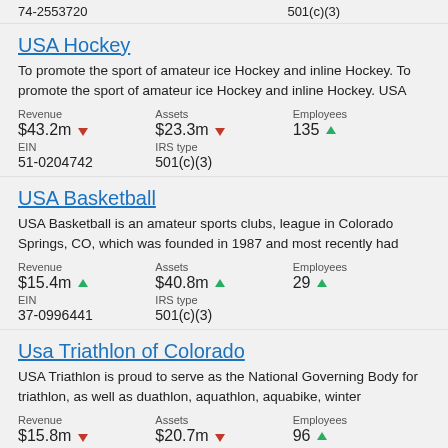74-2553720	501(c)(3)
USA Hockey
To promote the sport of amateur ice Hockey and inline Hockey. To promote the sport of amateur ice Hockey and inline Hockey. USA
| Revenue | Assets | Employees |
| --- | --- | --- |
| $43.2m ▼ | $23.3m ▼ | 135 ▲ |
| EIN | IRS type |  |
| 51-0204742 | 501(c)(3) |  |
USA Basketball
USA Basketball is an amateur sports clubs, league in Colorado Springs, CO, which was founded in 1987 and most recently had
| Revenue | Assets | Employees |
| --- | --- | --- |
| $15.4m ▲ | $40.8m ▲ | 29 ▲ |
| EIN | IRS type |  |
| 37-0996441 | 501(c)(3) |  |
Usa Triathlon of Colorado
USA Triathlon is proud to serve as the National Governing Body for triathlon, as well as duathlon, aquathlon, aquabike, winter
| Revenue | Assets | Employees |
| --- | --- | --- |
| $15.8m ▼ | $20.7m ▼ | 96 ▲ |